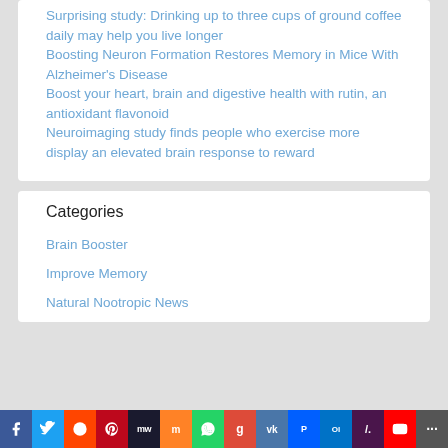Surprising study: Drinking up to three cups of ground coffee daily may help you live longer
Boosting Neuron Formation Restores Memory in Mice With Alzheimer's Disease
Boost your heart, brain and digestive health with rutin, an antioxidant flavonoid
Neuroimaging study finds people who exercise more display an elevated brain response to reward
Categories
Brain Booster
Improve Memory
Natural Nootropic News
Social sharing bar: Facebook, Twitter, Reddit, Pinterest, MeWe, Mix, WhatsApp, Google, VK, Pocket, Outlook, Slashdot, YouTube, More